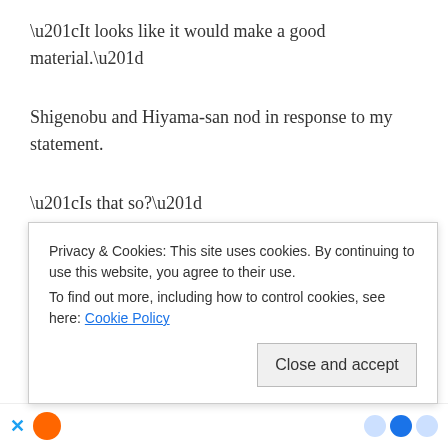“It looks like it would make a good material.”
Shigenobu and Hiyama-san nod in response to my statement.
“Is that so?”
Looks like Himeno-san isn’t very familiar with games. Hiyama-san seems to understand my reasoning though.
“It’s pretty hard. It could probably be used to make some good
Privacy & Cookies: This site uses cookies. By continuing to use this website, you agree to their use.
To find out more, including how to control cookies, see here: Cookie Policy
Close and accept